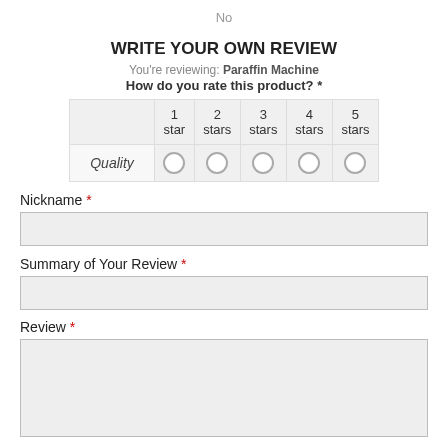No
WRITE YOUR OWN REVIEW
You're reviewing: Paraffin Machine
How do you rate this product? *
|  | 1 star | 2 stars | 3 stars | 4 stars | 5 stars |
| --- | --- | --- | --- | --- | --- |
| Quality | ○ | ○ | ○ | ○ | ○ |
Nickname *
Summary of Your Review *
Review *